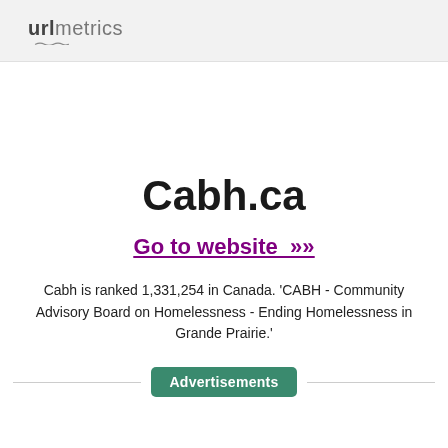URLmetrics
Cabh.ca
Go to website >>
Cabh is ranked 1,331,254 in Canada. 'CABH - Community Advisory Board on Homelessness - Ending Homelessness in Grande Prairie.'
Advertisements